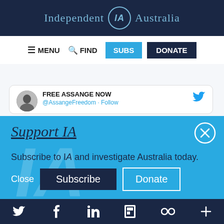Independent IA Australia
[Figure (screenshot): Navigation bar with MENU, FIND, SUBS (blue button), DONATE (dark navy button)]
[Figure (screenshot): Twitter card showing FREE ASSANGE NOW account with Twitter bird icon, partially visible]
Support IA
Subscribe to IA and investigate Australia today.
[Figure (screenshot): Blue overlay with Close, Subscribe, and Donate buttons, and X close button]
Social media icons: Twitter, Facebook, LinkedIn, Flipboard, share, plus